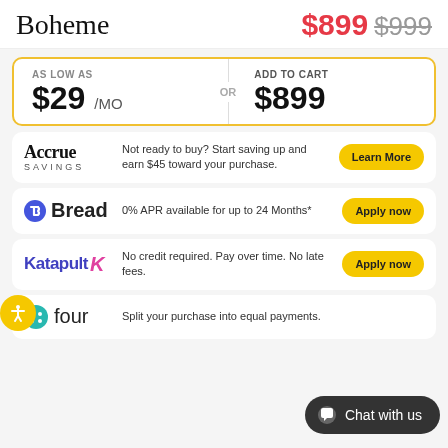Boheme
$899 $999
AS LOW AS $29 /MO OR ADD TO CART $899
[Figure (logo): Accrue Savings logo]
Not ready to buy? Start saving up and earn $45 toward your purchase.
Learn More
[Figure (logo): Bread logo with stylized S icon]
0% APR available for up to 24 Months*
Apply now
[Figure (logo): Katapult logo in purple with pink K arrow]
No credit required. Pay over time. No late fees.
Apply now
[Figure (logo): Four logo with teal circle and dots]
Split your purchase into equal payments.
Chat with us